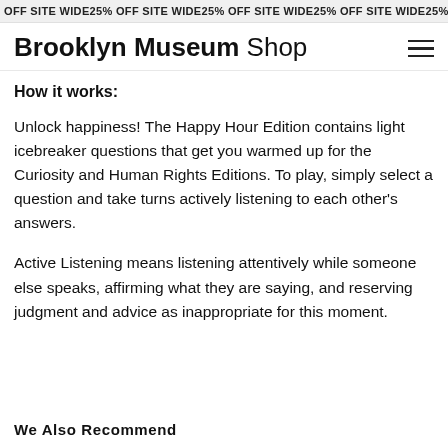25% OFF SITE WIDE  25% OFF SITE WIDE  25% OFF SITE WIDE  25% OFF SITE
Brooklyn Museum Shop
How it works:
Unlock happiness! The Happy Hour Edition contains light icebreaker questions that get you warmed up for the Curiosity and Human Rights Editions. To play, simply select a question and take turns actively listening to each other's answers.
Active Listening means listening attentively while someone else speaks, affirming what they are saying, and reserving judgment and advice as inappropriate for this moment.
We Also Recommend